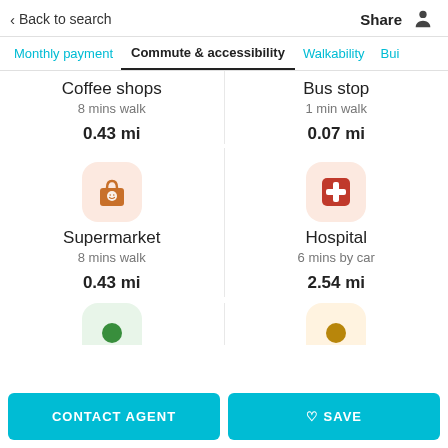< Back to search   Share
Monthly payment  Commute & accessibility  Walkability  Bui
Coffee shops
8 mins walk
0.43 mi
Bus stop
1 min walk
0.07 mi
[Figure (illustration): Shopping bag icon in orange on light peach rounded square background]
Supermarket
8 mins walk
0.43 mi
[Figure (illustration): Medical cross icon in red on light peach rounded square background]
Hospital
6 mins by car
2.54 mi
[Figure (illustration): Partially visible green circle icon on light green rounded square background]
[Figure (illustration): Partially visible icon on light orange/tan rounded square background]
CONTACT AGENT
♥ SAVE